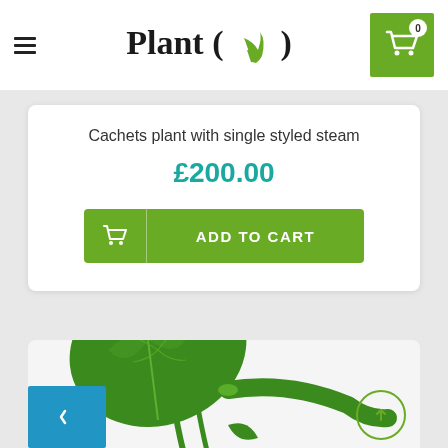Plant ( 🌱 )
Cachets plant with single styled steam
£200.00
ADD TO CART
[Figure (photo): Large tropical plant with multiple green heart-shaped leaves on white background]